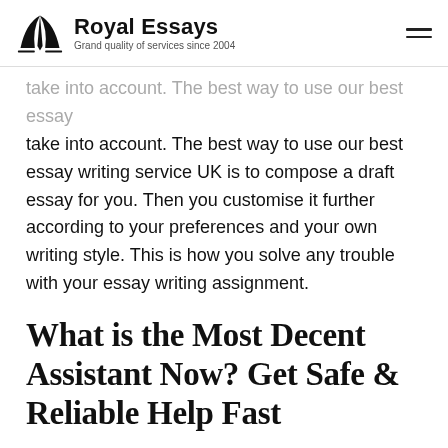Royal Essays — Grand quality of services since 2004
take into account. The best way to use our best essay writing service UK is to compose a draft essay for you. Then you customise it further according to your preferences and your own writing style. This is how you solve any trouble with your essay writing assignment.
What is the Most Decent Assistant Now? Get Safe & Reliable Help Fast